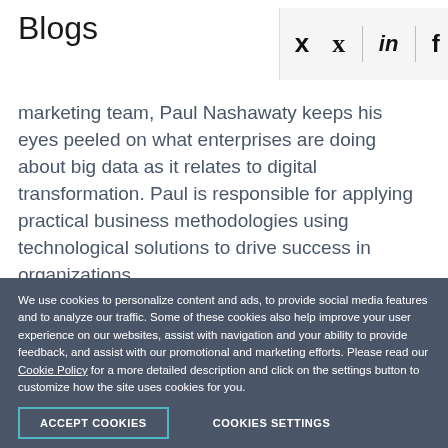Blogs
[Figure (other): Social media share icons: Twitter (bird), LinkedIn (in), Facebook (f) displayed in a light grey bar with vertical dividers]
marketing team, Paul Nashawaty keeps his eyes peeled on what enterprises are doing about big data as it relates to digital transformation. Paul is responsible for applying practical business methodologies using technological solutions to drive success in organizations.
We use cookies to personalize content and ads, to provide social media features and to analyze our traffic. Some of these cookies also help improve your user experience on our websites, assist with navigation and your ability to provide feedback, and assist with our promotional and marketing efforts. Please read our Cookie Policy for a more detailed description and click on the settings button to customize how the site uses cookies for you.
ACCEPT COOKIES
COOKIES SETTINGS